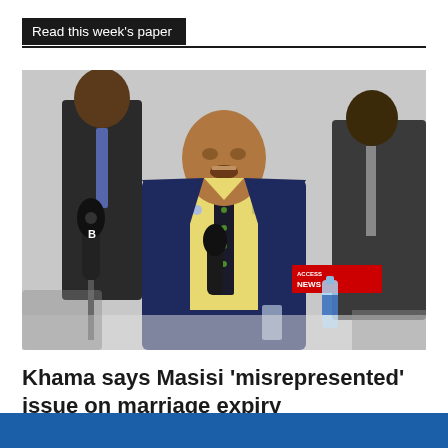Read this week's paper
[Figure (photo): A man in a dark navy suit and yellow shirt with a dark polka-dot tie speaks at a press conference surrounded by microphones. Other men in suits stand behind him. A water bottle and ACCESS NEWS microphone banner are visible on the table.]
Khama says Masisi ‘misrepresented’ issue on marriage expiry